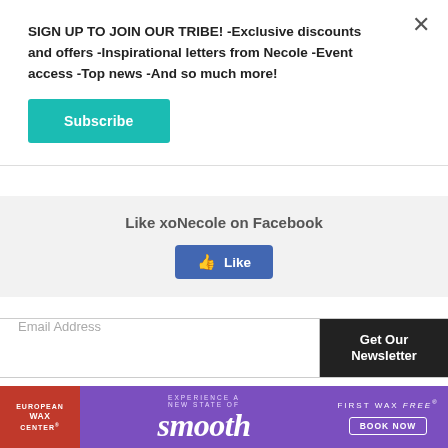SIGN UP TO JOIN OUR TRIBE! -Exclusive discounts and offers -Inspirational letters from Necole -Event access -Top news -And so much more!
Subscribe
Like xoNecole on Facebook
[Figure (screenshot): Facebook Like button (blue)]
Email Address
Get Our Newsletter
Charmaine Patterson
Charmaine Patterson is a journalist, lifestyle blogger,
[Figure (infographic): European Wax Center advertisement banner with purple background, red left panel, and 'smooth' text. First wax free offer with Book Now button.]